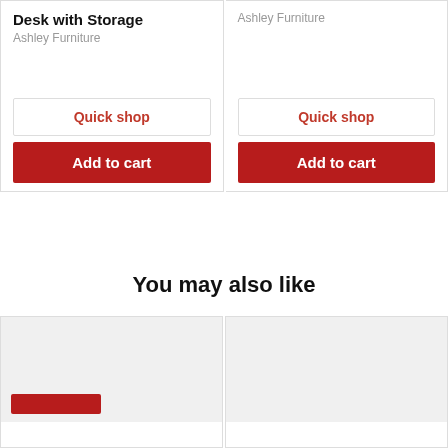Desk with Storage
Ashley Furniture
Quick shop
Add to cart
Ashley Furniture
Quick shop
Add to cart
You may also like
[Figure (screenshot): Product card image placeholder (left), partially visible, light gray background with red accent bar at bottom]
[Figure (screenshot): Product card image placeholder (right), partially visible, light gray background]